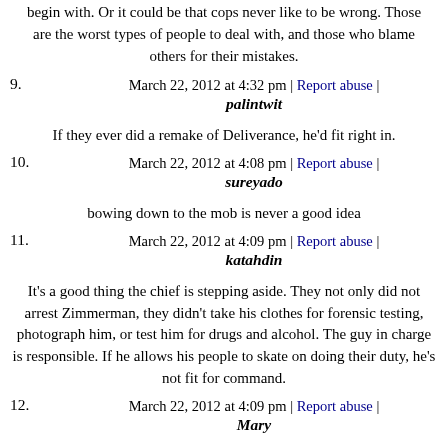begin with. Or it could be that cops never like to be wrong. Those are the worst types of people to deal with, and those who blame others for their mistakes.
March 22, 2012 at 4:32 pm | Report abuse |
9. palintwit
If they ever did a remake of Deliverance, he'd fit right in.
March 22, 2012 at 4:08 pm | Report abuse |
10. sureyado
bowing down to the mob is never a good idea
March 22, 2012 at 4:09 pm | Report abuse |
11. katahdin
It's a good thing the chief is stepping aside. They not only did not arrest Zimmerman, they didn't take his clothes for forensic testing, photograph him, or test him for drugs and alcohol. The guy in charge is responsible. If he allows his people to skate on doing their duty, he's not fit for command.
March 22, 2012 at 4:09 pm | Report abuse |
12. Mary